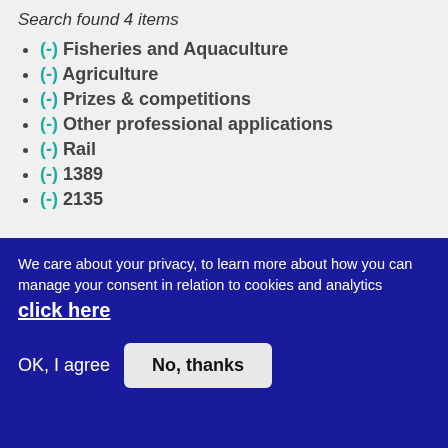Search found 4 items
(-) Fisheries and Aquaculture
(-) Agriculture
(-) Prizes & competitions
(-) Other professional applications
(-) Rail
(-) 1389
(-) 2135
Filter by type
We care about your privacy, to learn more about how you can manage your consent in relation to cookies and analytics click here
OK, I agree
No, thanks